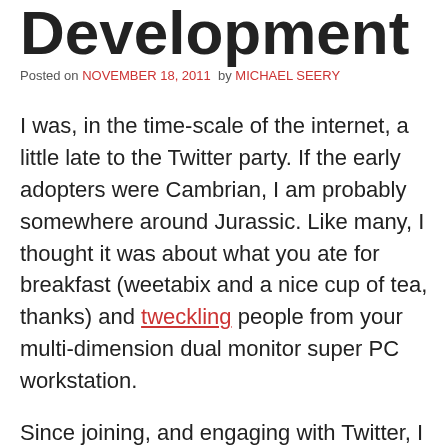Development
Posted on NOVEMBER 18, 2011 by MICHAEL SEERY
I was, in the time-scale of the internet, a little late to the Twitter party. If the early adopters were Cambrian, I am probably somewhere around Jurassic. Like many, I thought it was about what you ate for breakfast (weetabix and a nice cup of tea, thanks) and tweckling people from your multi-dimension dual monitor super PC workstation.
Since joining, and engaging with Twitter, I have grown to love it. Twitter can be anything you want it to be. If you want to know when Brangelina have a cup of tea (herbal I assume), discuss politics of